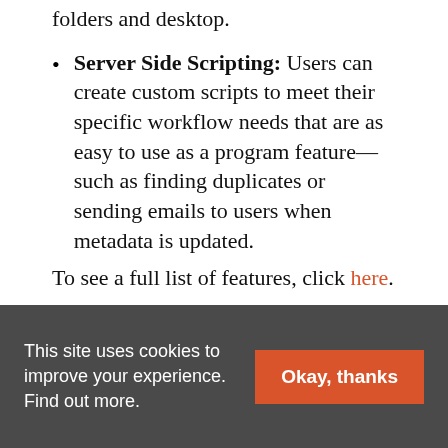folders and desktop.
Server Side Scripting: Users can create custom scripts to meet their specific workflow needs that are as easy to use as a program feature—such as finding duplicates or sending emails to users when metadata is updated.
To see a full list of features, click here.
This site uses cookies to improve your experience. Find out more.